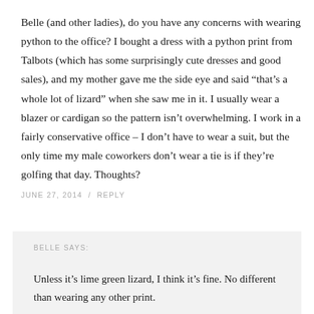Belle (and other ladies), do you have any concerns with wearing python to the office? I bought a dress with a python print from Talbots (which has some surprisingly cute dresses and good sales), and my mother gave me the side eye and said “that’s a whole lot of lizard” when she saw me in it. I usually wear a blazer or cardigan so the pattern isn’t overwhelming. I work in a fairly conservative office – I don’t have to wear a suit, but the only time my male coworkers don’t wear a tie is if they’re golfing that day. Thoughts?
JUNE 27, 2014 / REPLY
BELLE SAYS:
Unless it’s lime green lizard, I think it’s fine. No different than wearing any other print.